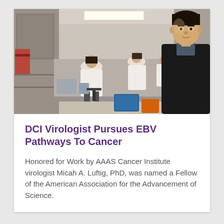[Figure (photo): Lab photo showing a man in a black sweater standing in the foreground facing the camera, with laboratory workers in white coats working at benches in the background. The lab has white walls, overhead fluorescent lighting, and laboratory equipment visible.]
DCI Virologist Pursues EBV Pathways To Cancer
Honored for Work by AAAS Cancer Institute virologist Micah A. Luftig, PhD, was named a Fellow of the American Association for the Advancement of Science.